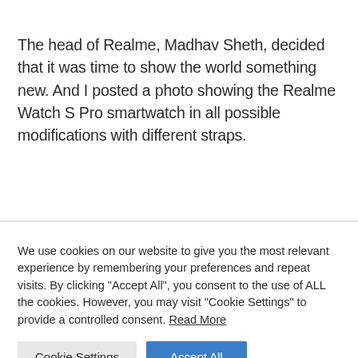The head of Realme, Madhav Sheth, decided that it was time to show the world something new. And I posted a photo showing the Realme Watch S Pro smartwatch in all possible modifications with different straps.
We use cookies on our website to give you the most relevant experience by remembering your preferences and repeat visits. By clicking "Accept All", you consent to the use of ALL the cookies. However, you may visit "Cookie Settings" to provide a controlled consent. Read More